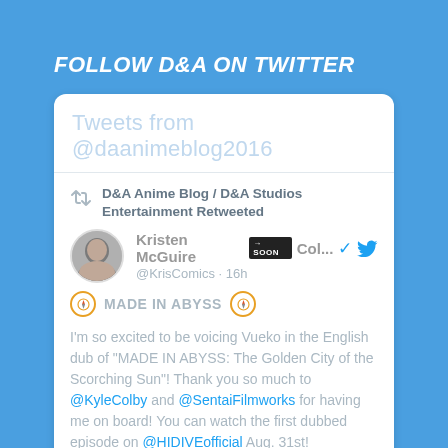FOLLOW D&A ON TWITTER
Tweets from @daanimeblog2016
D&A Anime Blog / D&A Studios Entertainment Retweeted
Kristen McGuire →Col... @KrisComics · 16h
🧭 MADE IN ABYSS 🧭
I'm so excited to be voicing Vueko in the English dub of "MADE IN ABYSS: The Golden City of the Scorching Sun"! Thank you so much to @KyleColby and @SentaiFilmworks for having me on board! You can watch the first dubbed episode on @HIDIVEofficial Aug. 31st!
[Figure (screenshot): Bottom portion of a Made in Abyss promotional image showing the title text in stylized orange/gold letters]